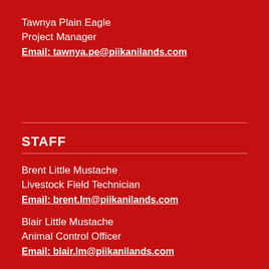Tawnya Plain Eagle
Project Manager
Email: tawnya.pe@piikanilands.com
STAFF
Brent Little Mustache
Livestock Field Technician
Email: brent.lm@piikanilands.com
Blair Little Mustache
Animal Control Officer
Email: blair.lm@piikanilands.com